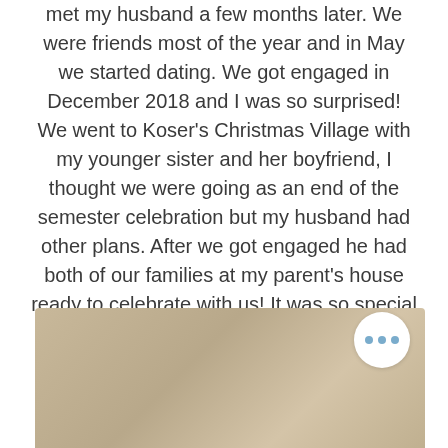met my husband a few months later. We were friends most of the year and in May we started dating. We got engaged in December 2018 and I was so surprised! We went to Koser's Christmas Village with my younger sister and her boyfriend, I thought we were going as an end of the semester celebration but my husband had other plans. After we got engaged he had both of our families at my parent's house ready to celebrate with us! It was so special to have everyone we love there to share in our excitement.
[Figure (photo): A partially visible photo showing a warm beige/tan background with a circular white button overlay containing three blue dots (more options menu)]